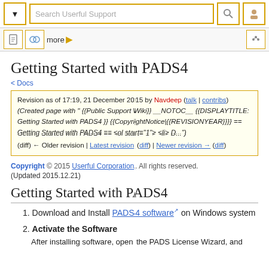Search Userful Support
< Docs
Revision as of 17:19, 21 December 2015 by Navdeep (talk | contribs) (Created page with " {{Public Support Wiki}} __NOTOC__ {{DISPLAYTITLE: Getting Started with PADS4 }} {{CopyrightNotice|{{REVISIONYEAR}}}} == Getting Started with PADS4 == <ol start="1"> <li> D...")
(diff) ← Older revision | Latest revision (diff) | Newer revision → (diff)
Getting Started with PADS4
Copyright © 2015 Userful Corporation. All rights reserved.
(Updated 2015.12.21)
Getting Started with PADS4
1. Download and Install PADS4 software on Windows system
2. Activate the Software
After installing software, open the PADS License Wizard, and